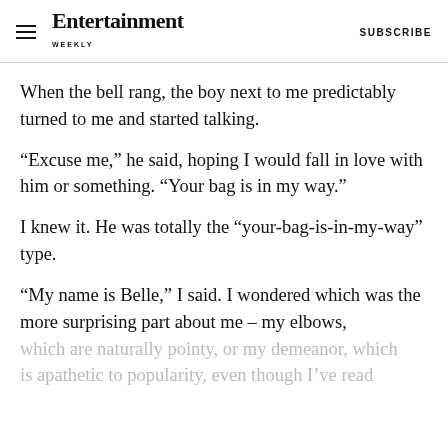Entertainment Weekly  SUBSCRIBE
When the bell rang, the boy next to me predictably turned to me and started talking.
“Excuse me,” he said, hoping I would fall in love with him or something. “Your bag is in my way.”
I knew it. He was totally the “your-bag-is-in-my-way” type.
“My name is Belle,” I said. I wondered which was the more surprising part about me – my elbows, which are naturally pointy, or my demeanor, which is apathetic to popularity, even though I’ve read